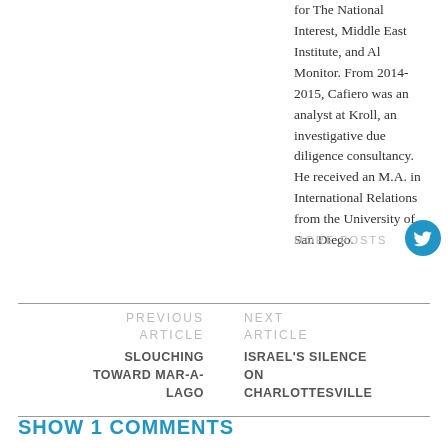for The National Interest, Middle East Institute, and Al Monitor. From 2014-2015, Cafiero was an analyst at Kroll, an investigative due diligence consultancy. He received an M.A. in International Relations from the University of San Diego.
MORE POSTS
[Figure (logo): Twitter bird icon in blue circle]
PREVIOUS ARTICLE
SLOUCHING TOWARD MAR-A-LAGO
NEXT ARTICLE
ISRAEL'S SILENCE ON CHARLOTTESVILLE
SHOW 1 COMMENTS